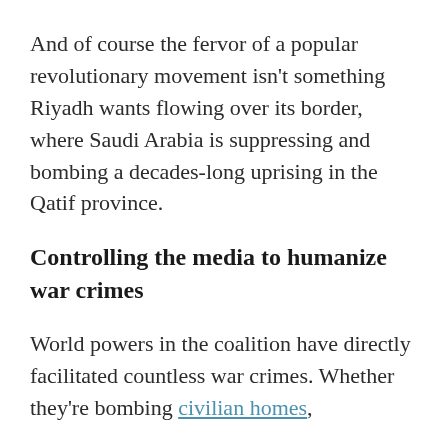And of course the fervor of a popular revolutionary movement isn't something Riyadh wants flowing over its border, where Saudi Arabia is suppressing and bombing a decades-long uprising in the Qatif province.
Controlling the media to humanize war crimes
World powers in the coalition have directly facilitated countless war crimes. Whether they're bombing civilian homes,